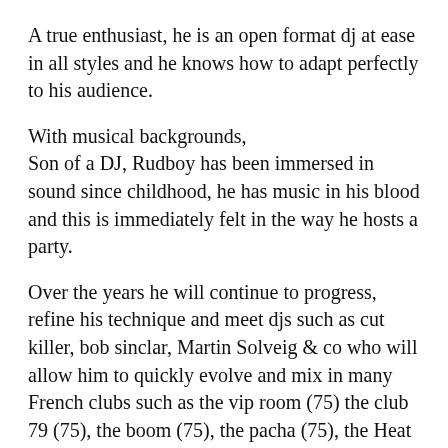A true enthusiast, he is an open format dj at ease in all styles and he knows how to adapt perfectly to his audience.
With musical backgrounds,
Son of a DJ, Rudboy has been immersed in sound since childhood, he has music in his blood and this is immediately felt in the way he hosts a party.
Over the years he will continue to progress, refine his technique and meet djs such as cut killer, bob sinclar, Martin Solveig & co who will allow him to quickly evolve and mix in many French clubs such as the vip room (75) the club 79 (75), the boom (75), the pacha (75), the Heat (34), the Palmeraie (13), the Retro (67), the beach (33)... and also abroad Mansion (Miami), hi Life (Germany), White (Ibiza, and more), Casino (Spain), Lavo (New York)...